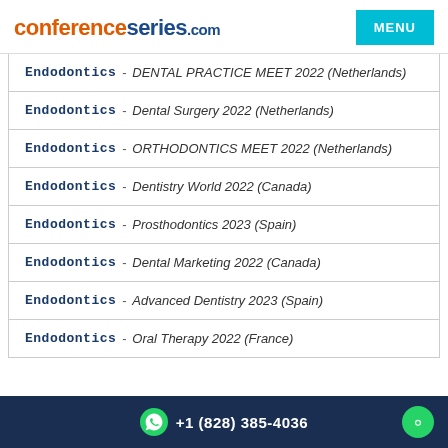conferenceseries.com
Endodontics - DENTAL PRACTICE MEET 2022 (Netherlands)
Endodontics - Dental Surgery 2022 (Netherlands)
Endodontics - ORTHODONTICS MEET 2022 (Netherlands)
Endodontics - Dentistry World 2022 (Canada)
Endodontics - Prosthodontics 2023 (Spain)
Endodontics - Dental Marketing 2022 (Canada)
Endodontics - Advanced Dentistry 2023 (Spain)
Endodontics - Oral Therapy 2022 (France)
+1 (828) 385-4036